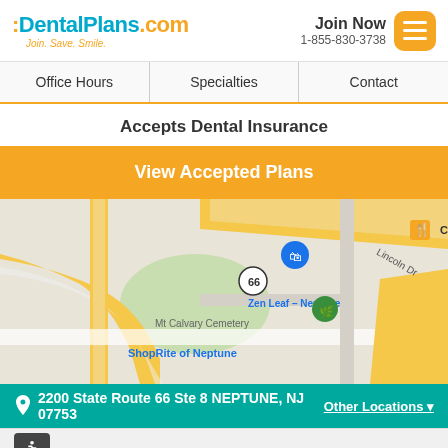DentalPlans.com Join. Save. Smile. | Join Now 1-855-830-3738
Office Hours
Specialties
Contact
Accepts Dental Insurance
View Accepted Plans
[Figure (map): Google Maps view showing Neptune, NJ area with location pin at 2200 State Route 66 Ste 8. Nearby landmarks include Crumbl Cookies - Ocean, Zen Leaf - Neptune, Mt Calvary Cemetery, ShopRite of Neptune, Crystal Inn Neptune. Route 66 and Route 35 visible.]
2200 State Route 66 Ste 8 NEPTUNE, NJ 07753 | Other Locations